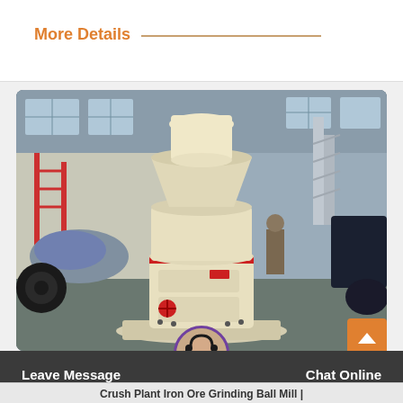More Details
[Figure (photo): Industrial grinding mill machine (Raymond mill / ball mill) standing in a factory/warehouse setting. The machine is cream/off-white colored with red accent markings, large cylindrical body, hopper on top, and base platform with wheels visible. Other heavy equipment visible in background.]
Leave Message
Chat Online
Crush Plant Iron Ore Grinding Ball Mill |